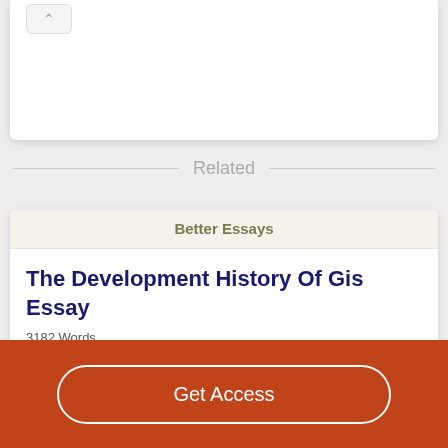[Figure (screenshot): Top white card with close/collapse button (X chevron) partially visible at top of page]
Related
Better Essays
The Development History Of Gis Essay
3182 Words
Get Access